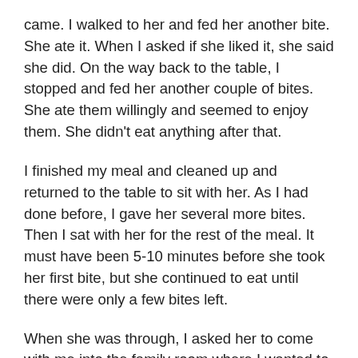came. I walked to her and fed her another bite. She ate it. When I asked if she liked it, she said she did. On the way back to the table, I stopped and fed her another couple of bites. She ate them willingly and seemed to enjoy them. She didn't eat anything after that.
I finished my meal and cleaned up and returned to the table to sit with her. As I had done before, I gave her several more bites. Then I sat with her for the rest of the meal. It must have been 5-10 minutes before she took her first bite, but she continued to eat until there were only a few bites left.
When she was through, I asked her to come with me into the family room where I wanted to show her something. She didn't respond. It was just like she was in the car. She just sat there without saying anything or making any effort to get up. I told her I was going to the family room